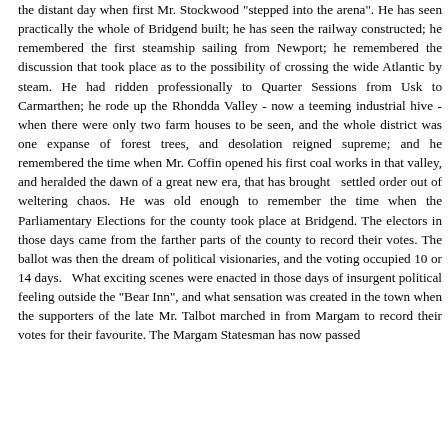the distant day when first Mr. Stockwood "stepped into the arena". He has seen practically the whole of Bridgend built; he has seen the railway constructed; he remembered the first steamship sailing from Newport; he remembered the discussion that took place as to the possibility of crossing the wide Atlantic by steam. He had ridden professionally to Quarter Sessions from Usk to Carmarthen; he rode up the Rhondda Valley - now a teeming industrial hive - when there were only two farm houses to be seen, and the whole district was one expanse of forest trees, and desolation reigned supreme; and he remembered the time when Mr. Coffin opened his first coal works in that valley, and heralded the dawn of a great new era, that has brought   settled order out of weltering chaos. He was old enough to remember the time when the Parliamentary Elections for the county took place at Bridgend. The electors in those days came from the farther parts of the county to record their votes. The ballot was then the dream of political visionaries, and the voting occupied 10 or 14 days.  What exciting scenes were enacted in those days of insurgent political feeling outside the "Bear Inn", and what sensation was created in the town when the supporters of the late Mr. Talbot marched in from Margam to record their votes for their favourite. The Margam Statesman has now passed